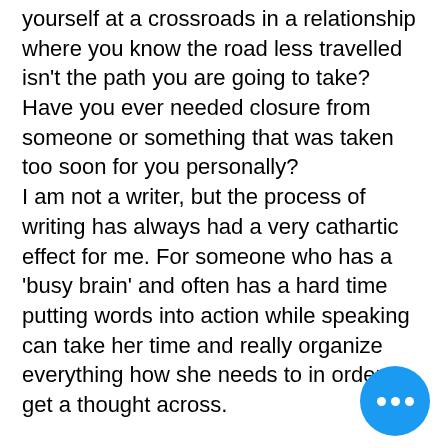yourself at a crossroads in a relationship where you know the road less travelled isn't the path you are going to take?  Have you ever needed closure from someone or something that was taken too soon for you personally? I am not a writer, but the process of writing has always had a very cathartic effect for me.  For someone who has a 'busy brain' and often has a hard time putting words into action while speaking can take her time and really organize everything how she needs to in order to get a thought across.
This letter was written for someone significant to me and while some know the circumstances for writing it -